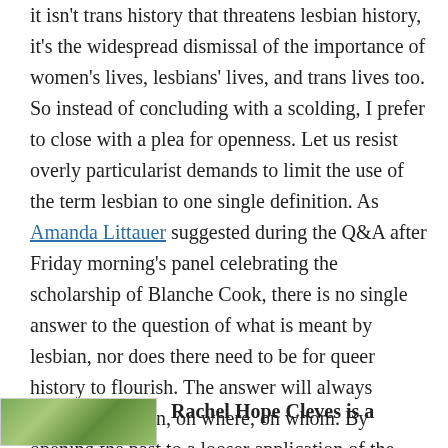it isn't trans history that threatens lesbian history, it's the widespread dismissal of the importance of women's lives, lesbians' lives, and trans lives too. So instead of concluding with a scolding, I prefer to close with a plea for openness. Let us resist overly particularist demands to limit the use of the term lesbian to one single definition. As Amanda Littauer suggested during the Q&A after Friday morning's panel celebrating the scholarship of Blanche Cook, there is no single answer to the question of what is meant by lesbian, nor does there need to be for queer history to flourish. The answer will always depend, on when, on where, on whom. By opening the past to a looser application of the term lesbian we might open the future as well.
[Figure (photo): Thumbnail photo showing greenery/plants, partially visible at bottom left]
Rachel Hope Cleves is a...